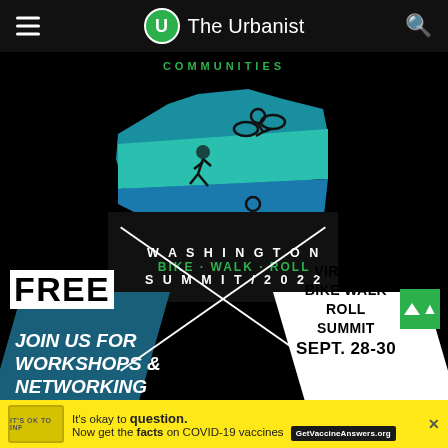The Urbanist
COMMUNITIES
[Figure (illustration): Washington Bike Walk Roll Summit 2022 event poster with Washington state silhouette in teal and blue, showing cyclist, runner, and wheelchair user icons. Text: WASHINGTON BIKE·WALK·ROLL SUMMIT/2022]
FREE
VIRTUAL BIKE WALK ROLL SUMMIT SEPT. 28-30
JOIN US FOR WORKSHOPS & NETWORKING
It's okay to question. Now get the facts on COVID-19 vaccines GetVaccineAnswers.org